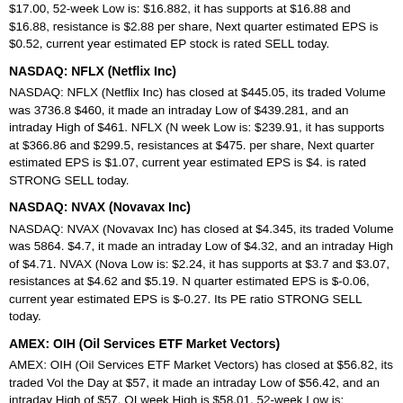$17.00, 52-week Low is: $16.882, it has supports at $16.88 and $16.88, resistance is $2.88 per share, Next quarter estimated EPS is $0.52, current year estimated EPS. stock is rated SELL today.
NASDAQ: NFLX (Netflix Inc)
NASDAQ: NFLX (Netflix Inc) has closed at $445.05, its traded Volume was 3736.8, $460, it made an intraday Low of $439.281, and an intraday High of $461. NFLX (N week Low is: $239.91, it has supports at $366.86 and $299.5, resistances at $475. per share, Next quarter estimated EPS is $1.07, current year estimated EPS is $4. is rated STRONG SELL today.
NASDAQ: NVAX (Novavax Inc)
NASDAQ: NVAX (Novavax Inc) has closed at $4.345, its traded Volume was 5864. $4.7, it made an intraday Low of $4.32, and an intraday High of $4.71. NVAX (Nova Low is: $2.24, it has supports at $3.7 and $3.07, resistances at $4.62 and $5.19. N quarter estimated EPS is $-0.06, current year estimated EPS is $-0.27. Its PE ratio STRONG SELL today.
AMEX: OIH (Oil Services ETF Market Vectors)
AMEX: OIH (Oil Services ETF Market Vectors) has closed at $56.82, its traded Vol the Day at $57, it made an intraday Low of $56.42, and an intraday High of $57. Ol week High is $58.01, 52-week Low is: $43.841, it has supports at $53.32 and $50.4 earning is $0 per share, Next quarter estimated EPS is $0, current year estimated E stock is rated SELL today.